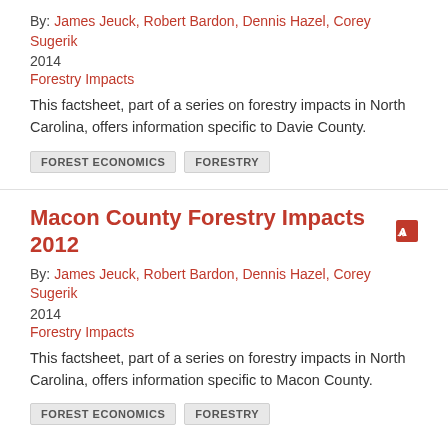By: James Jeuck, Robert Bardon, Dennis Hazel, Corey Sugerik
2014
Forestry Impacts
This factsheet, part of a series on forestry impacts in North Carolina, offers information specific to Davie County.
FOREST ECONOMICS
FORESTRY
Macon County Forestry Impacts 2012
By: James Jeuck, Robert Bardon, Dennis Hazel, Corey Sugerik
2014
Forestry Impacts
This factsheet, part of a series on forestry impacts in North Carolina, offers information specific to Macon County.
FOREST ECONOMICS
FORESTRY